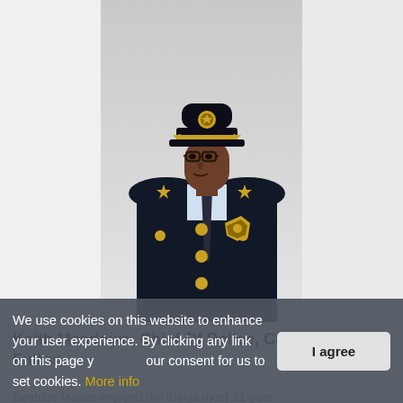[Figure (photo): Portrait photo of Keith Meadows in full police chief dress uniform — dark navy jacket with gold buttons and badge, police chief cap with gold braid, striped tie, glasses. Light grey background.]
Keith Meadows, Chief Of Police, City of South Fulton
Beatrice Majors enjoyed the things most 11-year…
We use cookies on this website to enhance your user experience. By clicking any link on this page you give your consent for us to set cookies. More info